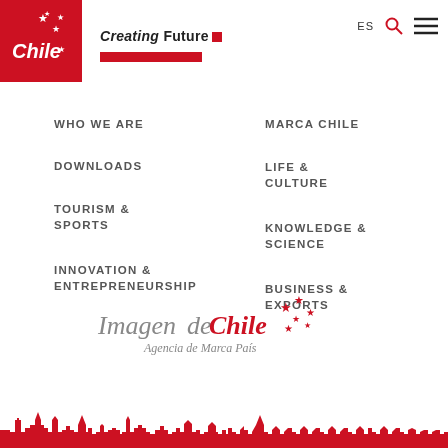[Figure (logo): Chile brand logo - white text 'Chile' with stars on red square background]
Creating Future
ES
WHO WE ARE
MARCA CHILE
DOWNLOADS
LIFE & CULTURE
TOURISM & SPORTS
KNOWLEDGE & SCIENCE
INNOVATION & ENTREPRENEURSHIP
BUSINESS & EXPORTS
[Figure (logo): Imagen de Chile - Agencia de Marca País logo with red stars]
[Figure (illustration): Red silhouette cityscape/skyline at bottom of page]